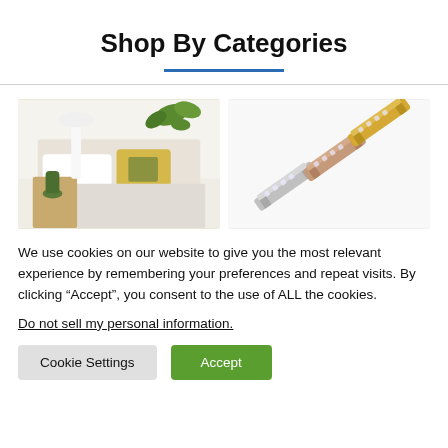Shop By Categories
[Figure (photo): Two side-by-side product category images: left shows a bedroom setting with green plants and yellow pillows; right shows decorative cabinet handles in silver, rose gold, and gold.]
We use cookies on our website to give you the most relevant experience by remembering your preferences and repeat visits. By clicking “Accept”, you consent to the use of ALL the cookies.
Do not sell my personal information.
Cookie Settings  Accept